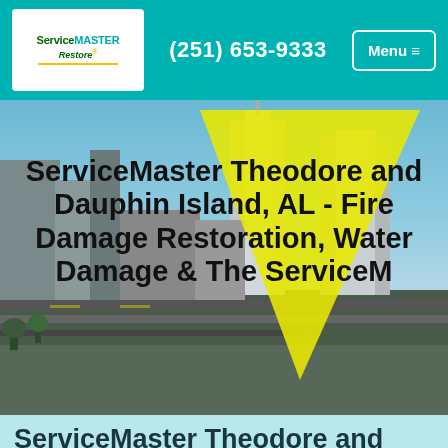(251) 653-9333
[Figure (screenshot): ServiceMaster Restore logo in white box on teal header]
[Figure (photo): Aerial city view of Mobile, Alabama skyline with skyscrapers and highway, overlaid with yellow triangular graphic and page title text]
ServiceMaster Theodore and Dauphin Island, AL - Fire Damage Restoration, Water Damage & The ServiceM
ServiceMaster Theodore and Dauphin Island, AL -